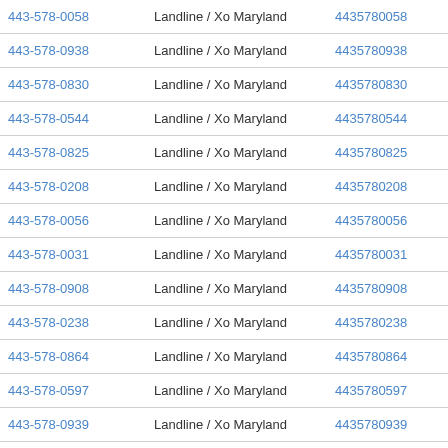| Phone | Type | Number | Action |
| --- | --- | --- | --- |
| 443-578-0058 | Landline / Xo Maryland | 4435780058 | View Resul |
| 443-578-0938 | Landline / Xo Maryland | 4435780938 | View Resul |
| 443-578-0830 | Landline / Xo Maryland | 4435780830 | View Resul |
| 443-578-0544 | Landline / Xo Maryland | 4435780544 | View Resul |
| 443-578-0825 | Landline / Xo Maryland | 4435780825 | View Resul |
| 443-578-0208 | Landline / Xo Maryland | 4435780208 | View Resul |
| 443-578-0056 | Landline / Xo Maryland | 4435780056 | View Resul |
| 443-578-0031 | Landline / Xo Maryland | 4435780031 | View Resul |
| 443-578-0908 | Landline / Xo Maryland | 4435780908 | View Resul |
| 443-578-0238 | Landline / Xo Maryland | 4435780238 | View Resul |
| 443-578-0864 | Landline / Xo Maryland | 4435780864 | View Resul |
| 443-578-0597 | Landline / Xo Maryland | 4435780597 | View Resul |
| 443-578-0939 | Landline / Xo Maryland | 4435780939 | View Resul |
| 443-578-0489 | Landline / Xo Maryland | 4435780489 | View Resul |
| 443-578-0156 | Landline / Xo Maryland | 4435780156 | View Resul (with scroll indicator) |
| 443-578-0072 | Landline / Xo Maryland | 4435780072 | View Resul |
| 443-578-0987 | Landline / Xo Maryland | 4435780987 | View Resul |
| 443-578-0488 | Landline / Xo Maryland | 4435780488 | View Resul |